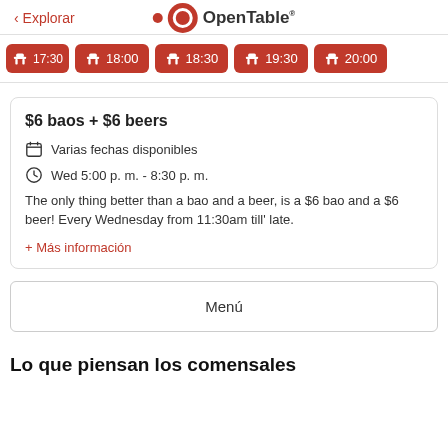< Explorar   OpenTable
[Figure (screenshot): Row of red reservation time slot buttons: 17:30, 18:00, 18:30, 19:30, 20:00]
$6 baos + $6 beers
Varias fechas disponibles
Wed 5:00 p. m. - 8:30 p. m.
The only thing better than a bao and a beer, is a $6 bao and a $6 beer! Every Wednesday from 11:30am till' late.
+ Más información
Menú
Lo que piensan los comensales